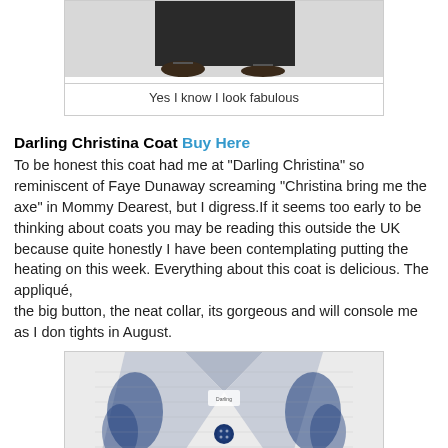[Figure (photo): Partial bottom half of a person wearing a dark long coat and sandals, shown from waist down on a white background]
Yes I know I look fabulous
Darling Christina Coat Buy Here
To be honest this coat had me at "Darling Christina" so reminiscent of Faye Dunaway screaming "Christina bring me the axe" in Mommy Dearest, but I digress.If it seems too early to be thinking about coats you may be reading this outside the UK because quite honestly I have been contemplating putting the heating on this week. Everything about this coat is delicious. The appliqué, the big button, the neat collar, its gorgeous and will console me as I don don tights in August.
[Figure (photo): Close-up of a blue and grey floral appliqué coat with a large navy button and neat collar, partially visible]